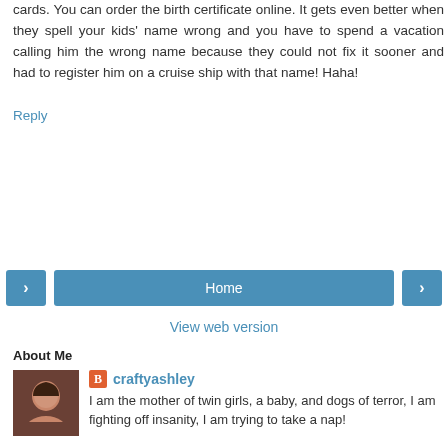cards. You can order the birth certificate online. It gets even better when they spell your kids' name wrong and you have to spend a vacation calling him the wrong name because they could not fix it sooner and had to register him on a cruise ship with that name! Haha!
Reply
[Figure (screenshot): Navigation bar with left arrow button, Home button, and right arrow button, plus View web version link below]
About Me
craftyashley
I am the mother of twin girls, a baby, and dogs of terror, I am fighting off insanity, I am trying to take a nap!